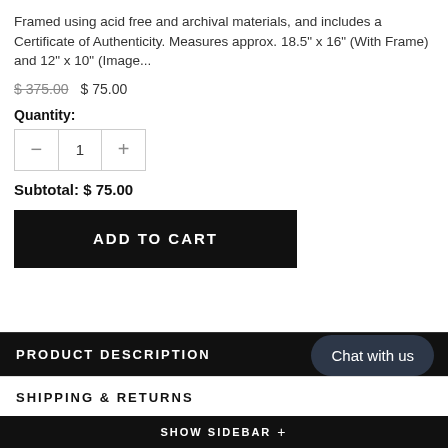Framed using acid free and archival materials, and includes a Certificate of Authenticity. Measures approx. 18.5" x 16" (With Frame) and 12" x 10" (Image...
$ 375.00  $ 75.00
Quantity:
Subtotal: $ 75.00
ADD TO CART
PRODUCT DESCRIPTION
SHIPPING & RETURNS
Chat with us
SHOW SIDEBAR +